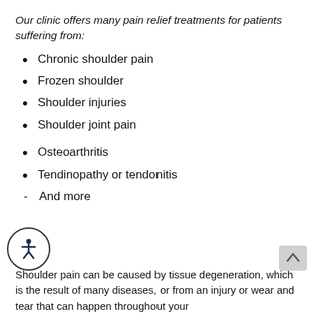Our clinic offers many pain relief treatments for patients suffering from:
Chronic shoulder pain
Frozen shoulder
Shoulder injuries
Shoulder joint pain
Osteoarthritis
Tendinopathy or tendonitis
And more
Shoulder pain can be caused by tissue degeneration, which is the result of many diseases, or from an injury or wear and tear that can happen throughout your